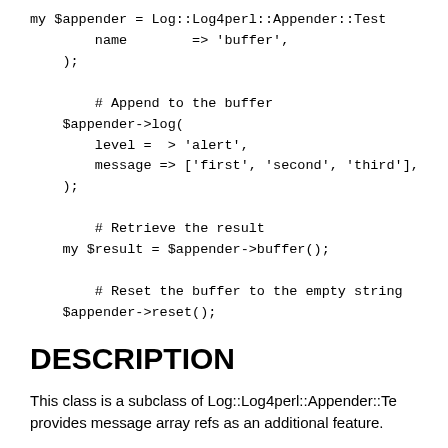my $appender = Log::Log4perl::Appender::Test
        name        => 'buffer',
    );

        # Append to the buffer
    $appender->log(
        level =  > 'alert',
        message => ['first', 'second', 'third'],
    );

        # Retrieve the result
    my $result = $appender->buffer();

        # Reset the buffer to the empty string
    $appender->reset();
DESCRIPTION
This class is a subclass of Log::Log4perl::Appender::Te provides message array refs as an additional feature.